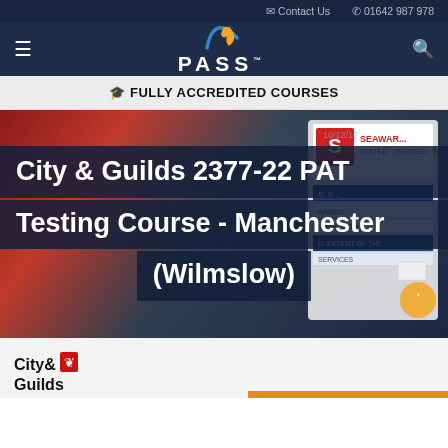Contact Us  01642 987 978
[Figure (logo): PASS training logo with flame icon and PASS text in nav bar]
FULLY ACCREDITED COURSES
[Figure (photo): Background photo of PAT testing equipment including Seaward PAT tester device]
City & Guilds 2377-22 PAT Testing Course - Manchester (Wilmslow)
[Figure (logo): City & Guilds logo at bottom left]